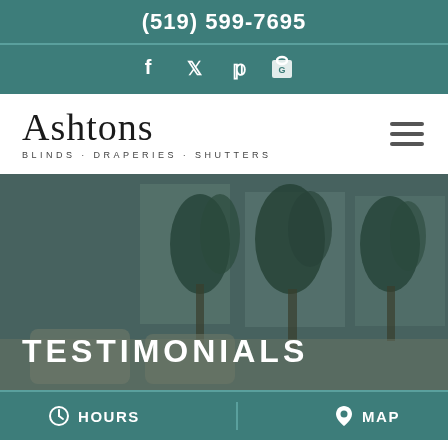(519) 599-7695
[Figure (logo): Social media icons: Facebook, Twitter, Pinterest, Google]
[Figure (logo): Ashtons Blinds Draperies Shutters logo with hamburger menu icon]
[Figure (photo): Interior room photo with window treatments and plants, overlaid with the word TESTIMONIALS]
TESTIMONIALS
HOURS   MAP